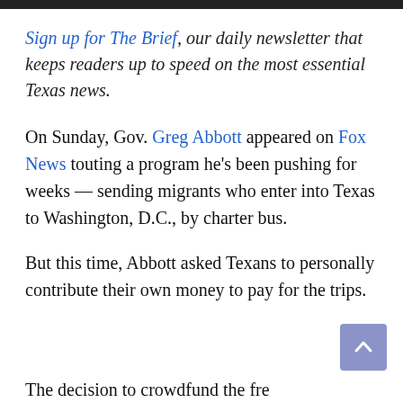Sign up for The Brief, our daily newsletter that keeps readers up to speed on the most essential Texas news.
On Sunday, Gov. Greg Abbott appeared on Fox News touting a program he’s been pushing for weeks — sending migrants who enter into Texas to Washington, D.C., by charter bus.
But this time, Abbott asked Texans to personally contribute their own money to pay for the trips.
The decision to crowdfund the fre…